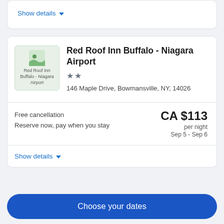Show details
Red Roof Inn Buffalo - Niagara Airport
146 Maple Drive, Bowmansville, NY, 14026
Free cancellation
Reserve now, pay when you stay
CA $113 per night Sep 5 - Sep 6
Show details
Choose your dates